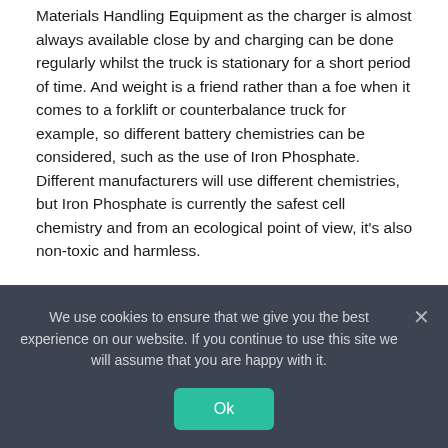Materials Handling Equipment as the charger is almost always available close by and charging can be done regularly whilst the truck is stationary for a short period of time. And weight is a friend rather than a foe when it comes to a forklift or counterbalance truck for example, so different battery chemistries can be considered, such as the use of Iron Phosphate. Different manufacturers will use different chemistries, but Iron Phosphate is currently the safest cell chemistry and from an ecological point of view, it's also non-toxic and harmless.
It's not as simple as finding the biggest battery you can! And it's more than just fast charging. It's about a bespoke solution for each business, depending on its needs and setup.
Water, tap and bath
Although the text below this section header is partially obscured by the cookie consent overlay.
[Figure (screenshot): Cookie consent banner overlay with dark background (#3d4451). Text reads: 'We use cookies to ensure that we give you the best experience on our website. If you continue to use this site we will assume that you are happy with it.' with an Ok button in teal/green and an X close button.]